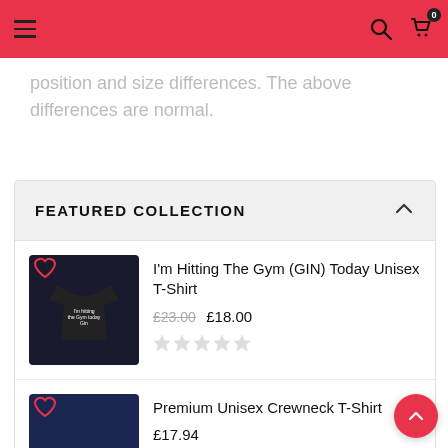Navigation bar with hamburger menu, search icon, and cart icon with badge 0
position and size differences. The above differences are normal.
FEATURED COLLECTION
I'm Hitting The Gym (GIN) Today Unisex T-Shirt
£23.00 £18.00
Premium Unisex Crewneck T-Shirt
£17.94